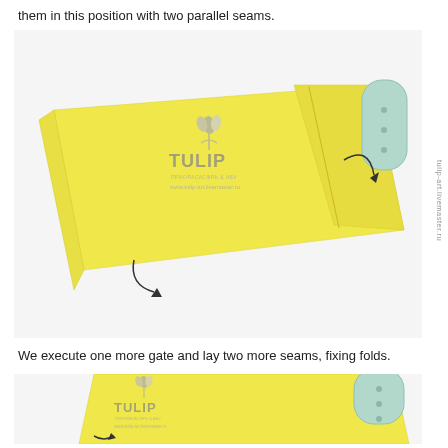them in this position with two parallel seams.
[Figure (photo): Yellow fabric piece folded with a light blue/mint rectangular tab/closure on the right side, showing two curved arrows indicating fold directions, with TULIP brand watermark visible.]
We execute one more gate and lay two more seams, fixing folds.
[Figure (photo): Yellow fabric piece with a light blue/mint rectangular tab on top-right, showing the result after two more seams, with TULIP brand watermark visible.]